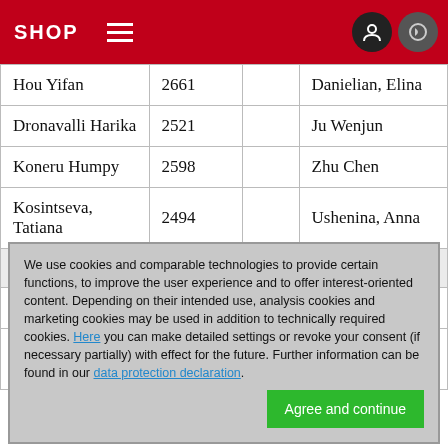SHOP
| Player | Rating |  | Opponent |
| --- | --- | --- | --- |
| Hou Yifan | 2661 |  | Danielian, Elina |
| Dronavalli Harika | 2521 |  | Ju Wenjun |
| Koneru Humpy | 2598 |  | Zhu Chen |
| Kosintseva, Tatiana | 2494 |  | Ushenina, Anna |
| Round 10 – September 05 2014, 15:00h |  |  |  |
| Zhao Xue | 2508 |  | Ushenina, Anna |
| Zhu Chen | 2461 |  | Kosintseva, Tatiana |
We use cookies and comparable technologies to provide certain functions, to improve the user experience and to offer interest-oriented content. Depending on their intended use, analysis cookies and marketing cookies may be used in addition to technically required cookies. Here you can make detailed settings or revoke your consent (if necessary partially) with effect for the future. Further information can be found in our data protection declaration.